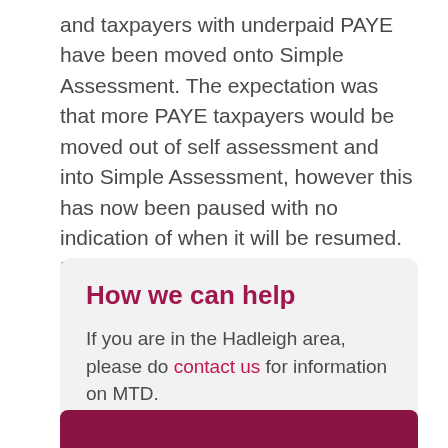and taxpayers with underpaid PAYE have been moved onto Simple Assessment. The expectation was that more PAYE taxpayers would be moved out of self assessment and into Simple Assessment, however this has now been paused with no indication of when it will be resumed. HMRC has confirmed that it will continue to encourage more individuals to use their PTA and will focus on improving the existing service to taxpayers.
How we can help
If you are in the Hadleigh area, please do contact us for information on MTD.